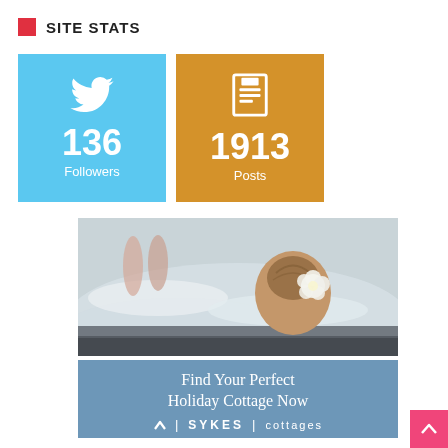SITE STATS
[Figure (infographic): Twitter followers stat box (blue): 136 Followers; Posts stat box (amber): 1913 Posts]
[Figure (photo): Advertisement for Sykes Cottages showing a woman relaxing in a hot tub from behind with a white flower in her hair. Text overlay: Find Your Perfect Holiday Cottage Now, with Sykes Cottages logo.]